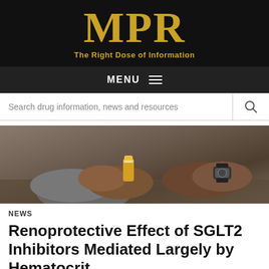MPR
The Right Dose of Information
MENU
Search drug information, news and resources
[Figure (photo): A person holding a prescription pill bottle, wearing a watch, seated at a table]
NEWS
Renoprotective Effect of SGLT2 Inhibitors Mediated Largely by Hematocrit
By ... June 15, 2021